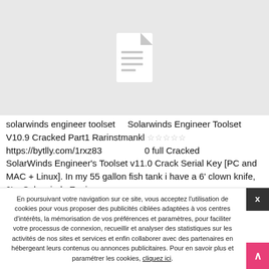[Figure (screenshot): Light grey placeholder area with a white document icon (file with lines) centered in it]
solarwinds engineer toolset    Solarwinds Engineer Toolset V10.9 Cracked Part1 Rarinstmankl ☆☆☆☆☆ https://bytlly.com/1rxz83                    0 full Cracked SolarWinds Engineer's Toolset v11.0 Crack Serial Key [PC and MAC + Linux]. In my 55 gallon fish tank i have a 6' clown knife, 9'    Solarwinds Engineer
En poursuivant votre navigation sur ce site, vous acceptez l'utilisation de cookies pour vous proposer des publicités ciblées adaptées à vos centres d'intérêts, la mémorisation de vos préférences et paramètres, pour faciliter votre processus de connexion, recueillir et analyser des statistiques sur les activités de nos sites et services et enfin collaborer avec des partenaires en hébergeant leurs contenus ou annonces publicitaires. Pour en savoir plus et paramétrer les cookies, cliquez ici.